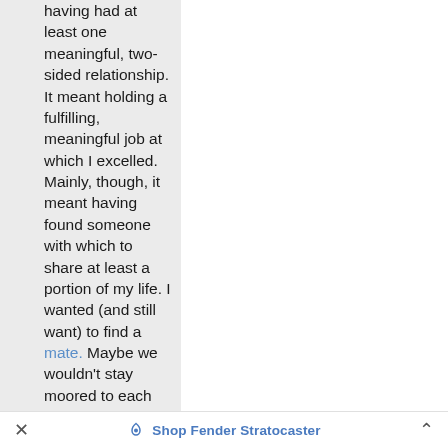having had at least one meaningful, two-sided relationship. It meant holding a fulfilling, meaningful job at which I excelled. Mainly, though, it meant having found someone with which to share at least a portion of my life. I wanted (and still want) to find a mate. Maybe we wouldn't stay moored to each other forever; if so, no cause for concern. The important thing is having had the experience.

This was my yardstick of success. And sometimes it seemed like I would never measure up. As I fell deeper into the hole known as love/lust/obsession I
Shop Fender Stratocaster